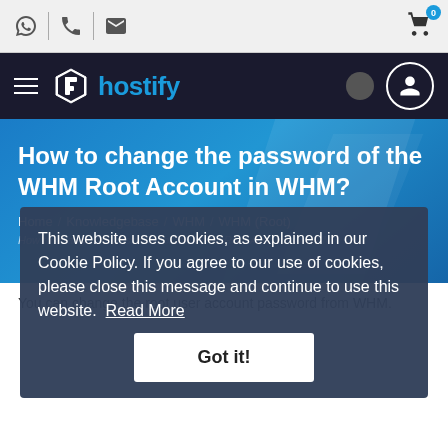Hostify navigation header with utility icons and cart
How to change the password of the WHM Root Account in WHM?
Home / Knowledgebase / WHM / WHM (Root)
How to change the password of the WHM Root Account in WHM?
This website uses cookies, as explained in our Cookie Policy. If you agree to our use of cookies, please close this message and continue to use this website.  Read More
Got it!
You can change the root user account password from WHM.